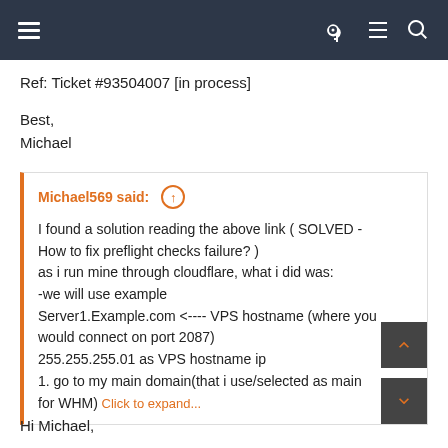navigation header with hamburger menu and icons
Ref: Ticket #93504007 [in process]
Best,
Michael
Michael569 said: ↑

I found a solution reading the above link ( SOLVED - How to fix preflight checks failure? )
as i run mine through cloudflare, what i did was:
-we will use example
Server1.Example.com <---- VPS hostname (where you would connect on port 2087)
255.255.255.01 as VPS hostname ip
1. go to my main domain(that i use/selected as main for WHM)
Click to expand...
Hi Michael,